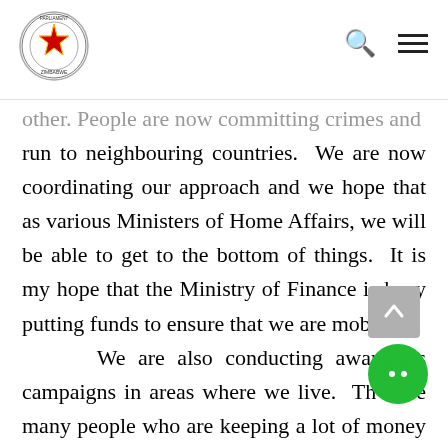Parliament of Zimbabwe header with logo, search icon, and menu icon
other. People are now committing crimes and run to neighbouring countries. We are now coordinating our approach and we hope that as various Ministers of Home Affairs, we will be able to get to the bottom of things. It is my hope that the Ministry of Finance is busy putting funds to ensure that we are mobile. We are also conducting awareness campaigns in areas where we live. There are many people who are keeping a lot of money in